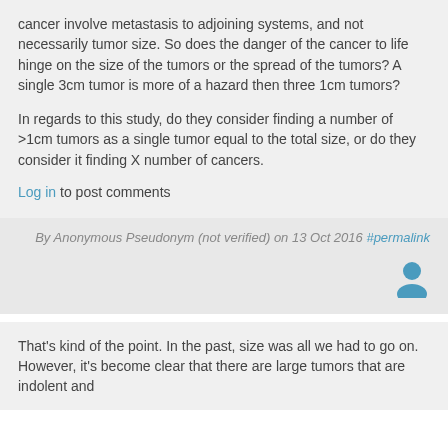I ask this as my understanding of the stages of cancer involve metastasis to adjoining systems, and not necessarily tumor size. So does the danger of the cancer to life hinge on the size of the tumors or the spread of the tumors? A single 3cm tumor is more of a hazard then three 1cm tumors?
In regards to this study, do they consider finding a number of >1cm tumors as a single tumor equal to the total size, or do they consider it finding X number of cancers.
Log in to post comments
By Anonymous Pseudonym (not verified) on 13 Oct 2016 #permalink
[Figure (illustration): User avatar icon in blue/teal color]
That's kind of the point. In the past, size was all we had to go on. However, it's become clear that there are large tumors that are indolent and